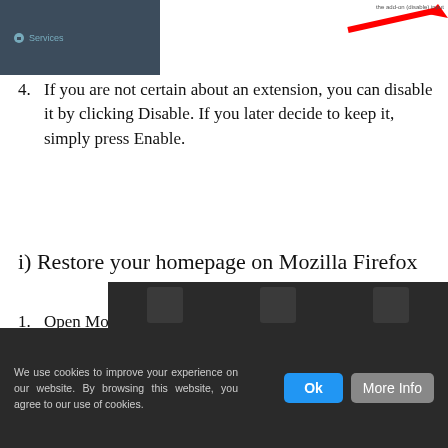[Figure (screenshot): Screenshot showing a dark sidebar panel with 'Services' label and a red arrow pointing to something on the right side]
4. If you are not certain about an extension, you can disable it by clicking Disable. If you later decide to keep it, simply press Enable.
i) Restore your homepage on Mozilla Firefox
1. Open Mozilla Firefox and access the menu by clicking on the three bars on the right side of the screen.
2. Select Options.
[Figure (screenshot): Screenshot of Mozilla Firefox toolbar with address bar, icons (star, list, download, home, shield, menu), and a dropdown context menu showing Cut, Copy, Paste options]
We use cookies to improve your experience on our website. By browsing this website, you agree to our use of cookies.
[Figure (screenshot): Cookie consent bar with Ok and More Info buttons]